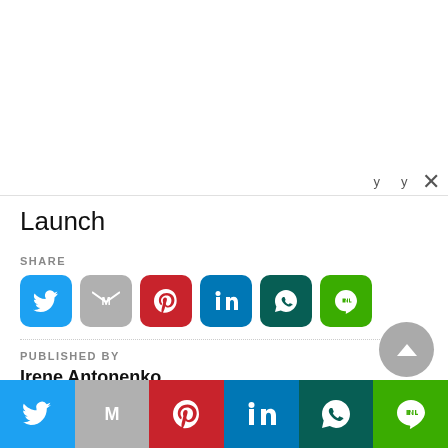Launch
SHARE
[Figure (other): Social media share icons: Twitter, Gmail, Pinterest, LinkedIn, WhatsApp, Line]
PUBLISHED BY
Irene Antonenko
TAGS:
Mars / Missions / Water on Mars
[Figure (other): Bottom social share bar: Twitter, Gmail, Pinterest, LinkedIn, WhatsApp, Line]